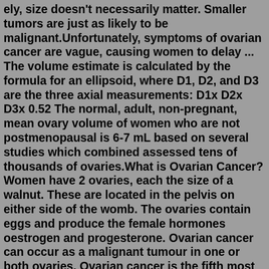ely, size doesn't necessarily matter. Smaller tumors are just as likely to be malignant.Unfortunately, symptoms of ovarian cancer are vague, causing women to delay ... The volume estimate is calculated by the formula for an ellipsoid, where D1, D2, and D3 are the three axial measurements: D1x D2x D3x 0.52 The normal, adult, non-pregnant, mean ovary volume of women who are not postmenopausal is 6-7 mL based on several studies which combined assessed tens of thousands of ovaries.What is Ovarian Cancer? Women have 2 ovaries, each the size of a walnut. These are located in the pelvis on either side of the womb. The ovaries contain eggs and produce the female hormones oestrogen and progesterone. Ovarian cancer can occur as a malignant tumour in one or both ovaries. Ovarian cancer is the fifth most common cancer in ...In-depth knowledge of ovarian cancer. ... Anatomy and physiology 2 female organs (glands producing sex hormones and the ova) size: One ovary is long, 2 cm wide and 1 cm thick Shape: almond shape. Location: